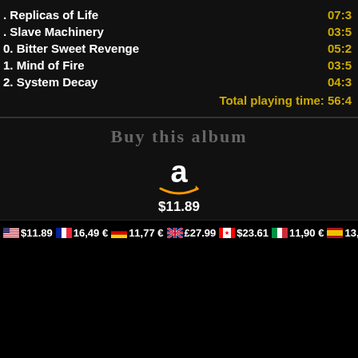. Replicas of Life  07:3
. Slave Machinery  03:5
0. Bitter Sweet Revenge  05:2
1. Mind of Fire  03:5
2. System Decay  04:3
Total playing time: 56:4
Buy this album
[Figure (logo): Amazon logo with smile arrow]
$11.89
🇺🇸 $11.89  🇫🇷 16,49 €  🇩🇪 11,77 €  🇬🇧 £27.99  🇨🇦 $23.61  🇮🇹 11,90 €  🇪🇸 13,77 €